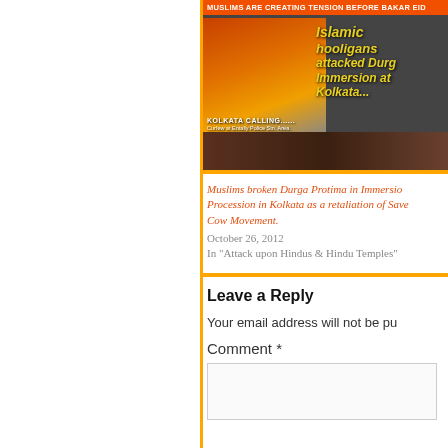[Figure (photo): Composite image with orange top banner text 'MUSLIMS ARE CREATING TENSION BEFORE BAKAR EID', left panel showing burning motorcycles with caption 'KOLKATA CALLING...... Curfew at Entally Police Stn. Area.', right side showing yellow italic text 'Islamic hooligans attacked Durga Immersion at Kolkata...' with crowd visible at bottom]
Muslims broken Durga Protima in Immersion Procession in Kolkata as a retaliation of Save Cow Movement.
October 26, 2012
In "Attack upon Hindus & Hindu Temples"
Leave a Reply
Your email address will not be pu
Comment *